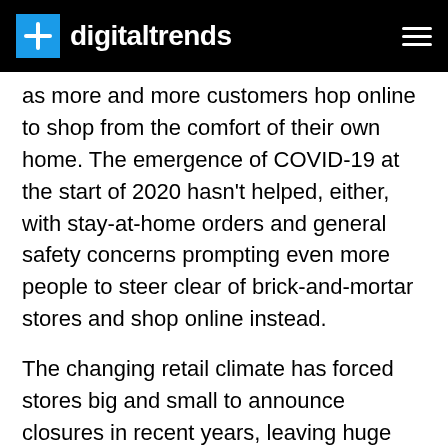digitaltrends
as more and more customers hop online to shop from the comfort of their own home. The emergence of COVID-19 at the start of 2020 hasn't helped, either, with stay-at-home orders and general safety concerns prompting even more people to steer clear of brick-and-mortar stores and shop online instead.
The changing retail climate has forced stores big and small to announce closures in recent years, leaving huge amounts of